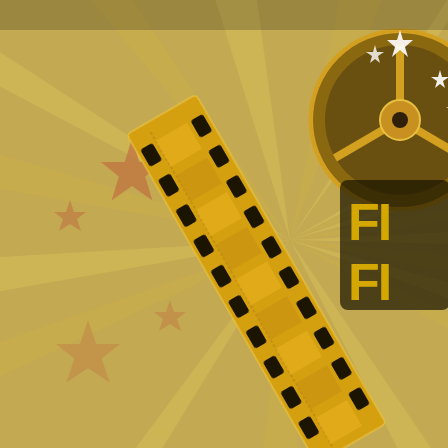[Figure (illustration): Film/cinema themed website banner with golden film reel, star burst rays, decorative stars, and partial logo text 'FI...' 'FI...' on the right side. Golden and brown color scheme with vintage Hollywood aesthetic.]
HOME   ABOUT US
Archive for September, 2016
CHARMIAN CAR...
Charmian Carr, famous as Liesl in The Sound of M...